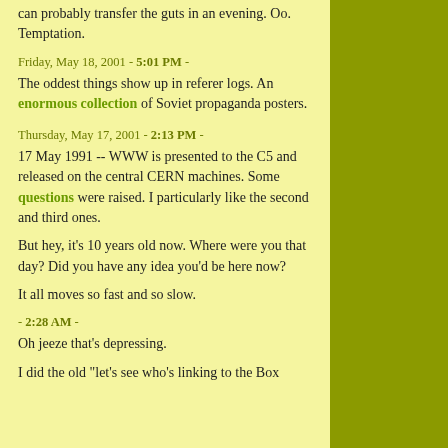can probably transfer the guts in an evening. Oo. Temptation.
Friday, May 18, 2001 - 5:01 PM -
The oddest things show up in referer logs. An enormous collection of Soviet propaganda posters.
Thursday, May 17, 2001 - 2:13 PM -
17 May 1991 -- WWW is presented to the C5 and released on the central CERN machines. Some questions were raised. I particularly like the second and third ones.
But hey, it's 10 years old now. Where were you that day? Did you have any idea you'd be here now?
It all moves so fast and so slow.
- 2:28 AM -
Oh jeeze that's depressing.
I did the old "let's see who's linking to the Box